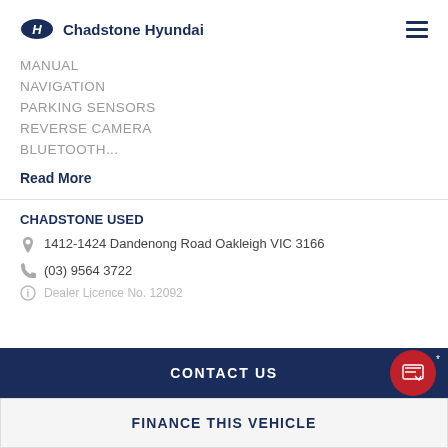Chadstone Hyundai
MANUAL
NAVIGATION
PARKING SENSORS
REVERSE CAMERA
BLUETOOTH...
Read More
CHADSTONE USED
1412-1424 Dandenong Road Oakleigh VIC 3166
(03) 9564 3722
Dealer Licence No. 12092
CONTACT US
FINANCE THIS VEHICLE